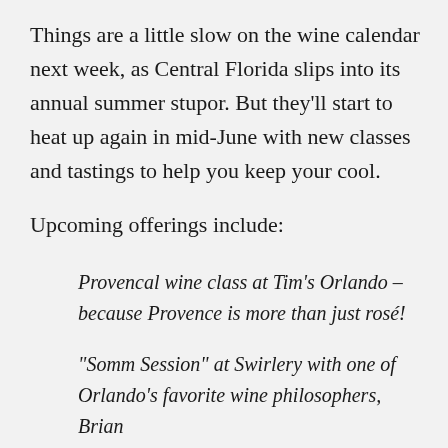Things are a little slow on the wine calendar next week, as Central Florida slips into its annual summer stupor. But they'll start to heat up again in mid-June with new classes and tastings to help you keep your cool.
Upcoming offerings include:
Provencal wine class at Tim's Orlando – because Provence is more than just rosé!
“Somm Session” at Swirlery with one of Orlando’s favorite wine philosophers, Brian